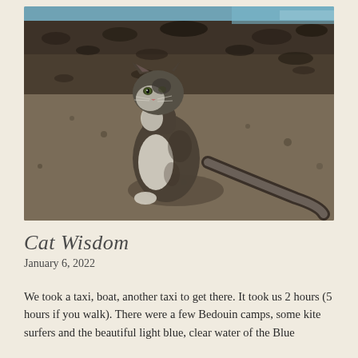[Figure (photo): A tabby and white cat with a fluffy tail sits on rocky sandy ground near water, looking at the camera. The background shows dark rocky shoreline with a glimpse of blue water.]
Cat Wisdom
January 6, 2022
We took a taxi, boat, another taxi to get there. It took us 2 hours (5 hours if you walk). There were a few Bedouin camps, some kite surfers and the beautiful light blue, clear water of the Blue...